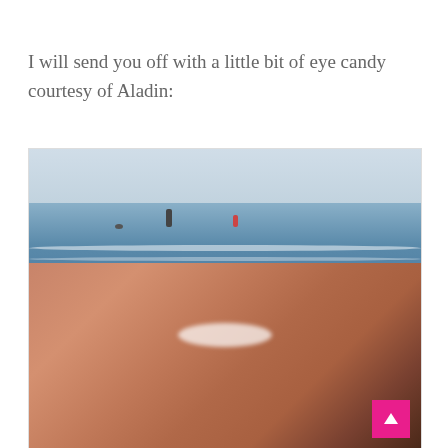I will send you off with a little bit of eye candy courtesy of Aladin:
[Figure (photo): A young man taking a selfie at the beach/ocean. He has short dark hair, a beard, and is shirtless and smiling. The ocean waves and a few distant people swimming are visible in the background.]